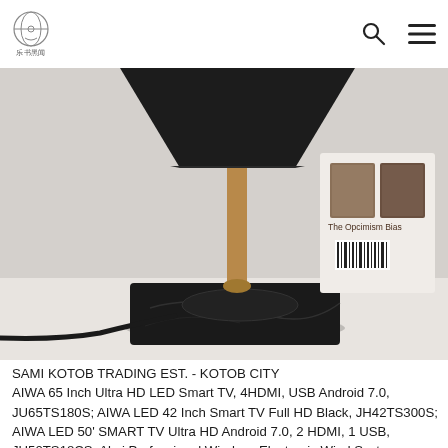SAMI KOTOB TRADING EST. logo and navigation icons
[Figure (photo): A desk lamp with a black conical shade and a gold/brass pole standing on a square black marble base. A black cord runs along a white surface. In the background, a book titled 'The Opcimism Bias' is visible.]
SAMI KOTOB TRADING EST. - KOTOB CITY AIWA 65 Inch Ultra HD LED Smart TV, 4HDMI, USB Android 7.0, JU65TS180S; AIWA LED 42 Inch Smart TV Full HD Black, JH42TS300S; AIWA LED 50' SMART TV Ultra HD Android 7.0, 2 HDMI, 1 USB, JU50TS18CS; Akai Professional Wireless Electronic Wind System, EWI5000X; Alcatel MB20G-